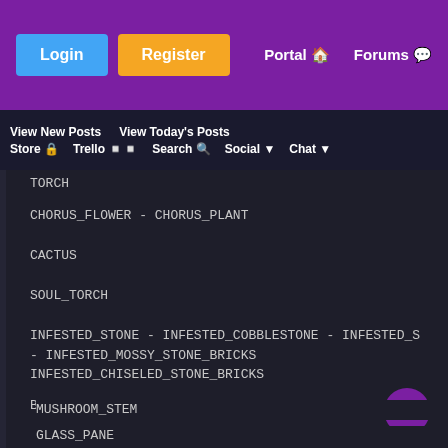Login | Register | Portal | Forums
View New Posts  View Today's Posts  Store  Trello  Search  Social  Chat
TORCH
CHORUS_FLOWER - CHORUS_PLANT
CACTUS
SOUL_TORCH
INFESTED_STONE - INFESTED_COBBLESTONE - INFESTED_S - INFESTED_MOSSY_STONE_BRICKS INFESTED_CHISELED_STONE_BRICKS
BROWN_MUSHROOM_BLOCK - RED_MUSHROOM_BLOCK
MUSHROOM_STEM
GLASS_PANE